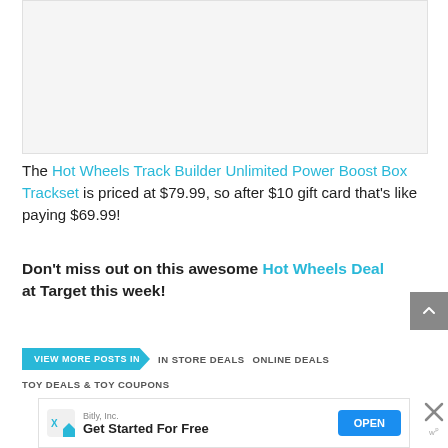[Figure (photo): Image placeholder area (product image, light gray background)]
The Hot Wheels Track Builder Unlimited Power Boost Box Trackset is priced at $79.99, so after $10 gift card that's like paying $69.99!
Don't miss out on this awesome Hot Wheels Deal at Target this week!
VIEW MORE POSTS IN  IN STORE DEALS  ONLINE DEALS  TOY DEALS & TOY COUPONS
[Figure (other): Advertisement banner: Bitly, Inc. - Get Started For Free - OPEN button]